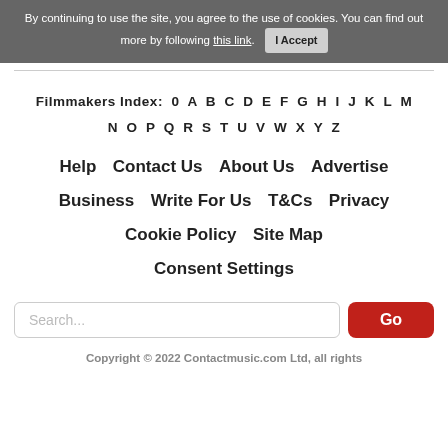By continuing to use the site, you agree to the use of cookies. You can find out more by following this link.  I Accept
Filmmakers Index:  0  A  B  C  D  E  F  G  H  I  J  K  L  M  N  O  P  Q  R  S  T  U  V  W  X  Y  Z
Help   Contact Us   About Us   Advertise   Business   Write For Us   T&Cs   Privacy   Cookie Policy   Site Map   Consent Settings
Search...
Copyright © 2022 Contactmusic.com Ltd, all rights